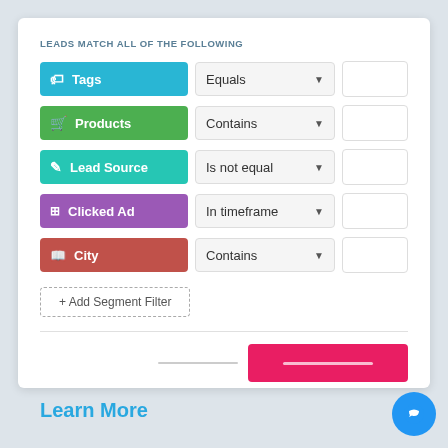LEADS MATCH ALL OF THE FOLLOWING
[Figure (screenshot): CRM segmentation filter UI with filter rows: Tags (Equals), Products (Contains), Lead Source (Is not equal), Clicked Ad (In timeframe), City (Contains), each with colored buttons, dropdown, and text input]
+ Add Segment Filter
Learn More